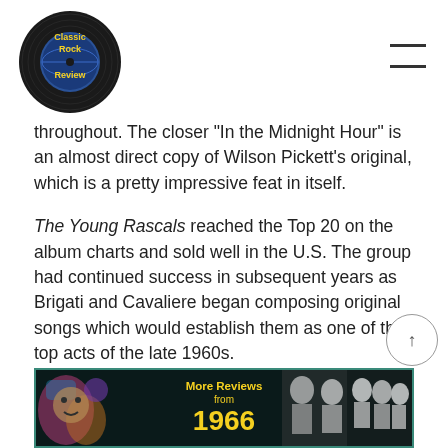Classic Rock Review
throughout. The closer “In the Midnight Hour” is an almost direct copy of Wilson Pickett’s original, which is a pretty impressive feat in itself.
The Young Rascals reached the Top 20 on the album charts and sold well in the U.S. The group had continued success in subsequent years as Brigati and Cavaliere began composing original songs which would establish them as one of the top acts of the late 1960s.
~
[Figure (illustration): Banner image with teal border on dark background, showing 'More Reviews from 1966' text in yellow with decorative figures on left and right sides]